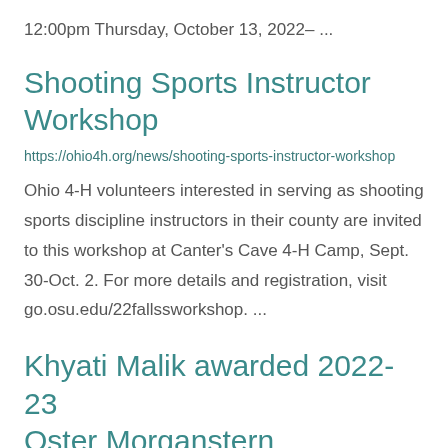12:00pm Thursday, October 13, 2022- ...
Shooting Sports Instructor Workshop
https://ohio4h.org/news/shooting-sports-instructor-workshop
Ohio 4-H volunteers interested in serving as shooting sports discipline instructors in their county are invited to this workshop at Canter's Cave 4-H Camp, Sept. 30-Oct. 2. For more details and registration, visit go.osu.edu/22fallssworkshop. ...
Khyati Malik awarded 2022-23 Oster Morganstern fellowship...